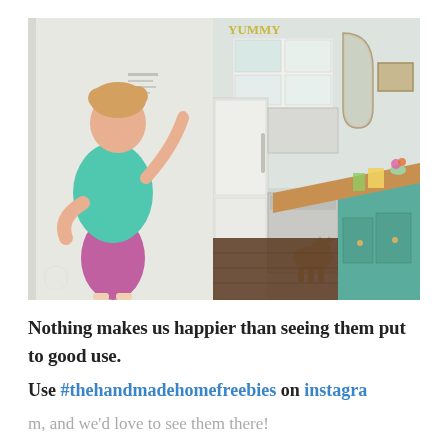[Figure (photo): Two side-by-side photos: left photo shows a young girl with hair in buns, wearing a teal shirt and pink shorts, standing with her back to the camera and writing or drawing on a white wall. Right photo shows a kitchen interior with teal/mint green cabinets, a butcher block island countertop, white upper cabinets, stainless steel appliances, and a cat on the dark wood floor.]
Nothing makes us happier than seeing them put to good use.
Use #thehandmadehomefreebies on instagram, and we'd love to see them there!